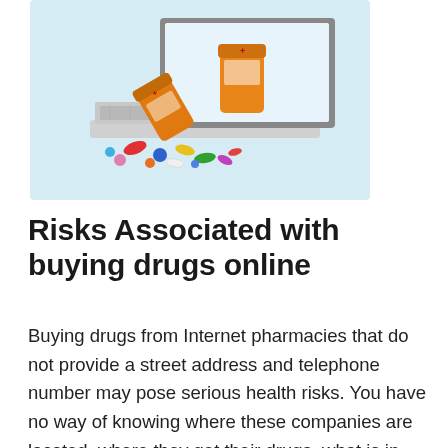[Figure (photo): Photo of orange prescription pill bottles (one upright, one tipped over spilling pills) on a laptop keyboard, with colorful pills scattered around, against a light blue background.]
Risks Associated with buying drugs online
Buying drugs from Internet pharmacies that do not provide a street address and telephone number may pose serious health risks. You have no way of knowing where these companies are located, where they get their drugs, what is in their drugs, or how to